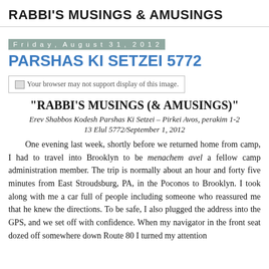RABBI'S MUSINGS & AMUSINGS
Friday, August 31, 2012
PARSHAS KI SETZEI 5772
[Figure (other): Image placeholder: 'Your browser may not support display of this image.']
“RABBI’S MUSINGS (& AMUSINGS)”
Erev Shabbos Kodesh Parshas Ki Setzei – Pirkei Avos, perakim 1-2
13 Elul 5772/September 1, 2012
One evening last week, shortly before we returned home from camp, I had to travel into Brooklyn to be menachem avel a fellow camp administration member. The trip is normally about an hour and forty five minutes from East Stroudsburg, PA, in the Poconos to Brooklyn. I took along with me a car full of people including someone who reassured me that he knew the directions. To be safe, I also plugged the address into the GPS, and we set off with confidence. When my navigator in the front seat dozed off somewhere down Route 80 I turned my attention